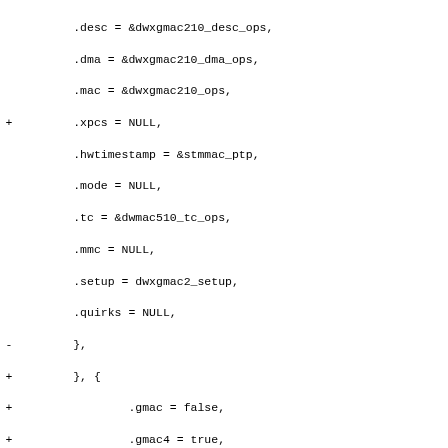Diff/patch code block showing C struct initialization changes with lines for .desc, .dma, .mac, .xpcs, .hwtimestamp, .mode, .tc, .mmc, .setup, .quirks, closing brace replacement with new struct block containing .gmac, .gmac4, .xgmac, .has_xpcs, .min_id, .regs, .desc, .dma, .mac, .xpcs, .hwtimestamp, .mode, .tc, .mmc, .setup fields